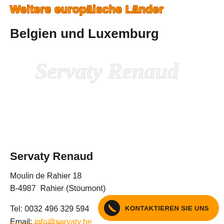Weitere europäische Länder
Belgien und Luxemburg
[Figure (logo): Servaty Renaud watermark logo in light gray/white]
Servaty Renaud
Moulin de Rahier 18
B-4987  Rahier (Stoumont)
Tel: 0032 496 329 594
Email: info@servaty.be
www.servaty.be
KONTAKTIEREN SIE UNS